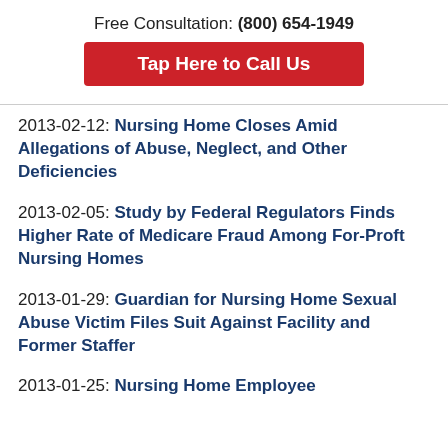Free Consultation: (800) 654-1949
Tap Here to Call Us
2013-02-12: Nursing Home Closes Amid Allegations of Abuse, Neglect, and Other Deficiencies
2013-02-05: Study by Federal Regulators Finds Higher Rate of Medicare Fraud Among For-Proft Nursing Homes
2013-01-29: Guardian for Nursing Home Sexual Abuse Victim Files Suit Against Facility and Former Staffer
2013-01-25: Nursing Home Employee